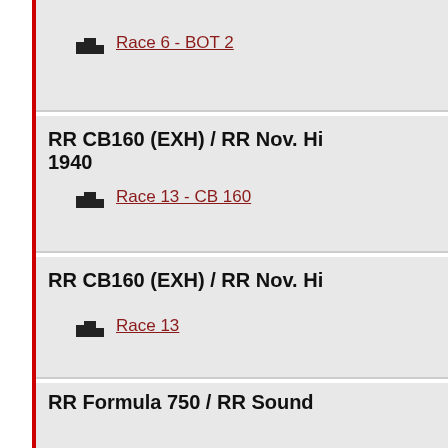Race 6 - BOT 2
RR CB160 (EXH) / RR Nov. Hi 1940
Race 13 - CB 160
RR CB160 (EXH) / RR Nov. Hi
Race 13
RR Formula 750 / RR Sound
Race 9
Race 9 - Formula 750